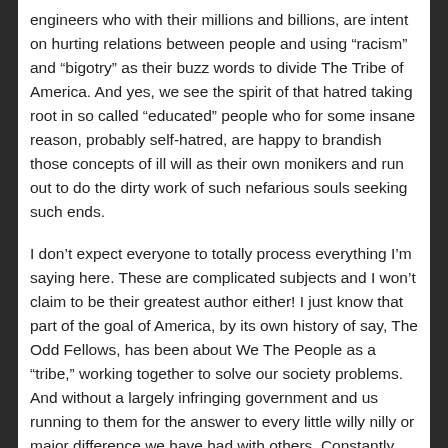engineers who with their millions and billions, are intent on hurting relations between people and using “racism” and “bigotry” as their buzz words to divide The Tribe of America. And yes, we see the spirit of that hatred taking root in so called “educated” people who for some insane reason, probably self-hatred, are happy to brandish those concepts of ill will as their own monikers and run out to do the dirty work of such nefarious souls seeking such ends.
I don’t expect everyone to totally process everything I’m saying here. These are complicated subjects and I won’t claim to be their greatest author either! I just know that part of the goal of America, by its own history of say, The Odd Fellows, has been about We The People as a “tribe,” working together to solve our society problems. And without a largely infringing government and us running to them for the answer to every little willy nilly or major difference we have had with others. Constantly pandering to them and their media really, is to empower them with guns and force. This will only be to the destruction of us all and all “human” customs. Its actually our differences